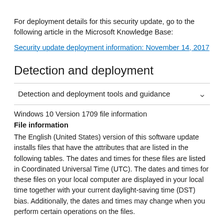For deployment details for this security update, go to the following article in the Microsoft Knowledge Base:
Security update deployment information: November 14, 2017
Detection and deployment
Detection and deployment tools and guidance
Windows 10 Version 1709 file information
File information
The English (United States) version of this software update installs files that have the attributes that are listed in the following tables. The dates and times for these files are listed in Coordinated Universal Time (UTC). The dates and times for these files on your local computer are displayed in your local time together with your current daylight-saving time (DST) bias. Additionally, the dates and times may change when you perform certain operations on the files.